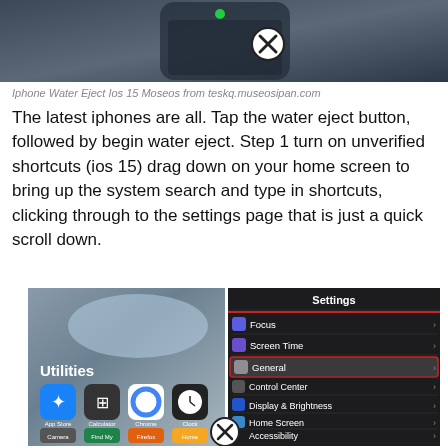[Figure (screenshot): Top portion showing iPhone with green indicator light, partially cropped, with a circled X button overlay]
Iphone Water Eject Ios 15 Moseos from teskq.museosipan.com
The latest iphones are all. Tap the water eject button, followed by begin water eject. Step 1 turn on unverified shortcuts (ios 15) drag down on your home screen to bring up the system search and type in shortcuts, clicking through to the settings page that is just a quick scroll down.
[Figure (screenshot): Two-panel composite screenshot: left showing iOS home screen with Utilities folder and app icons (App Store, Calculator, Chrome, Clock, Camera, Find My, Firefox, Home); right showing iOS Settings screen with General highlighted in red, plus Focus, Screen Time, Control Center, Display & Brightness, Home Screen, Accessibility, Wallpaper rows. A circled X button appears over the bottom center.]